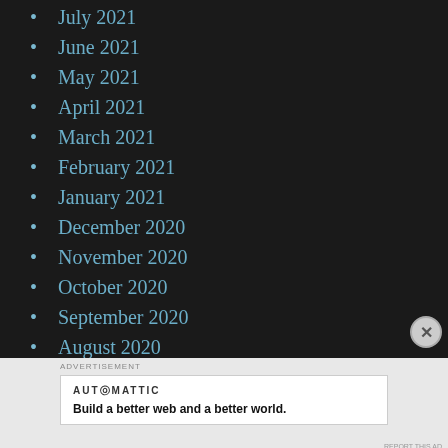July 2021
June 2021
May 2021
April 2021
March 2021
February 2021
January 2021
December 2020
November 2020
October 2020
September 2020
August 2020
July 2020
AUTOMATTIC
Build a better web and a better world.